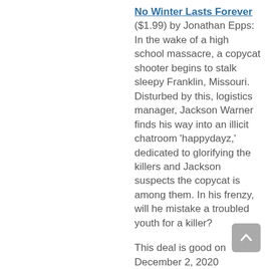No Winter Lasts Forever ($1.99) by Jonathan Epps: In the wake of a high school massacre, a copycat shooter begins to stalk sleepy Franklin, Missouri. Disturbed by this, logistics manager, Jackson Warner finds his way into an illicit chatroom 'happydayz,' dedicated to glorifying the killers and Jackson suspects the copycat is among them. In his frenzy, will he mistake a troubled youth for a killer?
This deal is good on December 2, 2020